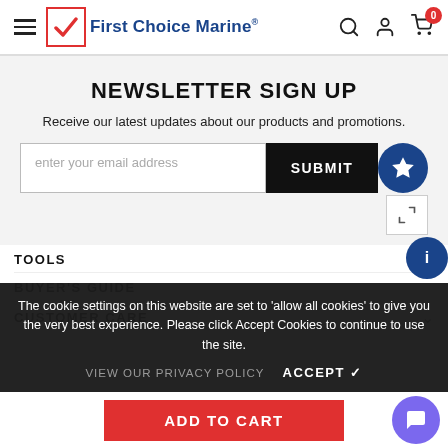First Choice Marine
NEWSLETTER SIGN UP
Receive our latest updates about our products and promotions.
enter your email address
SUBMIT
TOOLS
The cookie settings on this website are set to 'allow all cookies' to give you the very best experience. Please click Accept Cookies to continue to use the site.
BUYER'S GUIDE
CUSTOMER CARE
VIEW OUR PRIVACY POLICY
ACCEPT ✓
ADD TO CART